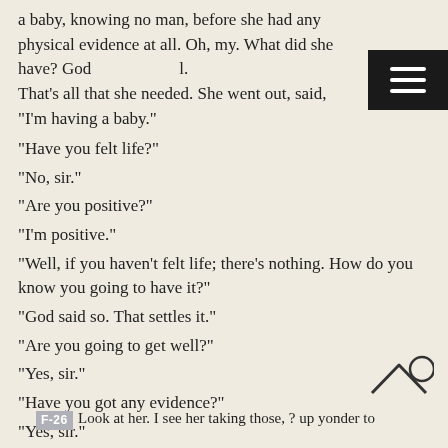a baby, knowing no man, before she had any physical evidence at all. Oh, my. What did she have? God's Word. That's all that she needed. She went out, said, "I'm having a baby."
"Have you felt life?"
"No, sir."
"Are you positive?"
"I'm positive."
"Well, if you haven't felt life; there's nothing. How do you know you going to have it?"
"God said so. That settles it."
"Are you going to get well?"
"Yes, sir."
"Have you got any evidence?"
"Yes, sir."
"What is it?"
"God said so." That's right. It's good enough for me
F-26 Look at her. I see her taking those, ? up yonder to